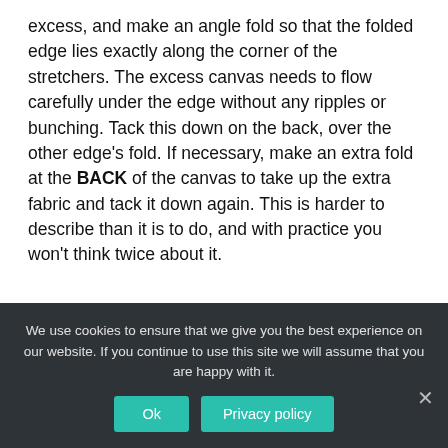excess, and make an angle fold so that the folded edge lies exactly along the corner of the stretchers. The excess canvas needs to flow carefully under the edge without any ripples or bunching. Tack this down on the back, over the other edge's fold. If necessary, make an extra fold at the BACK of the canvas to take up the extra fabric and tack it down again. This is harder to describe than it is to do, and with practice you won't think twice about it.
[Figure (photo): A light gray rectangular image placeholder on the left side of the page.]
If you're not doing a gallery
We use cookies to ensure that we give you the best experience on our website. If you continue to use this site we will assume that you are happy with it.